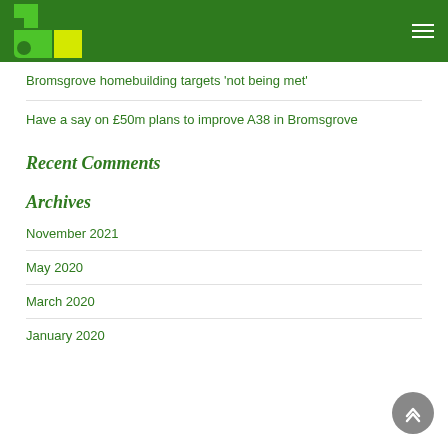Bromsgrove District Green Party
Bromsgrove homebuilding targets ‘not being met’
Have a say on £50m plans to improve A38 in Bromsgrove
Recent Comments
Archives
November 2021
May 2020
March 2020
January 2020